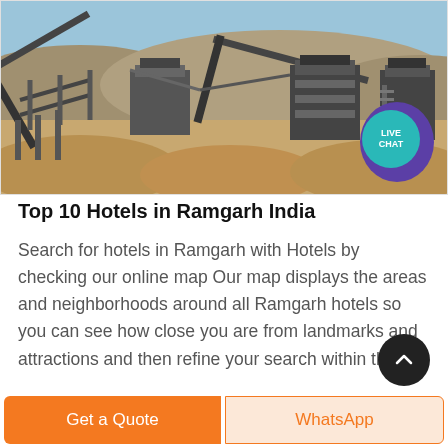[Figure (photo): Industrial mining/quarry site photograph showing conveyor belts, rock crushing machinery, and sandy terrain with hills in the background under a blue sky. A teal 'LIVE CHAT' circle badge and purple circle decoration appear in the bottom-right of the image.]
Top 10 Hotels in Ramgarh India
Search for hotels in Ramgarh with Hotels by checking our online map Our map displays the areas and neighborhoods around all Ramgarh hotels so you can see how close you are from landmarks and attractions and then refine your search within th